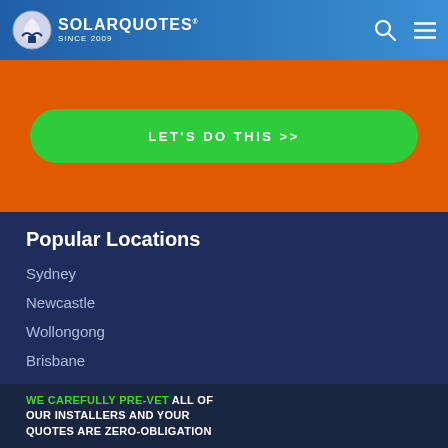SOLARQUOTES SINCE 2009
[Figure (screenshot): Orange banner with green CTA button reading LET'S DO THIS >>]
Popular Locations
Sydney
Newcastle
Wollongong
Brisbane
Gold Coast
Sunshine Coast
Cairns
Melbourne
WE CAREFULLY PRE-VET ALL OF OUR INSTALLERS AND YOUR QUOTES ARE ZERO-OBLIGATION